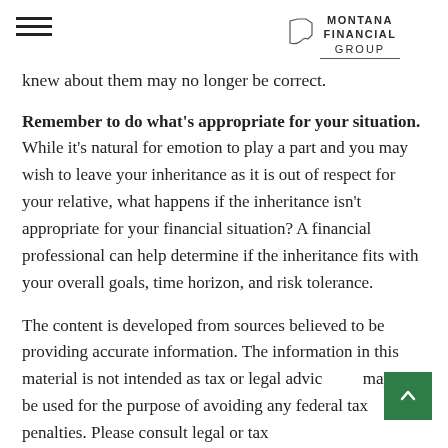Montana Financial Group
knew about them may no longer be correct.
Remember to do what's appropriate for your situation. While it's natural for emotion to play a part and you may wish to leave your inheritance as it is out of respect for your relative, what happens if the inheritance isn't appropriate for your financial situation? A financial professional can help determine if the inheritance fits with your overall goals, time horizon, and risk tolerance.
The content is developed from sources believed to be providing accurate information. The information in this material is not intended as tax or legal advice and may not be used for the purpose of avoiding any federal tax penalties. Please consult legal or tax